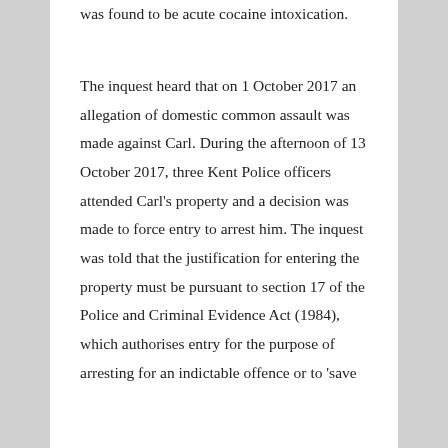was found to be acute cocaine intoxication.
The inquest heard that on 1 October 2017 an allegation of domestic common assault was made against Carl. During the afternoon of 13 October 2017, three Kent Police officers attended Carl's property and a decision was made to force entry to arrest him. The inquest was told that the justification for entering the property must be pursuant to section 17 of the Police and Criminal Evidence Act (1984), which authorises entry for the purpose of arresting for an indictable offence or to 'save